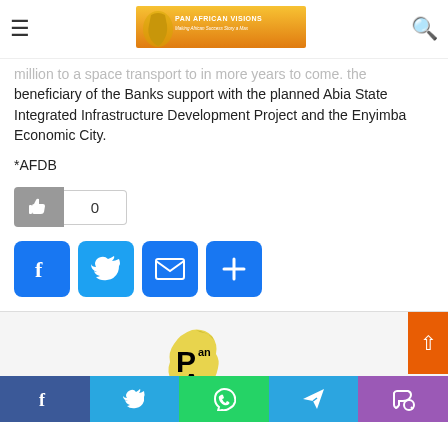Pan African Visions — Navigation bar with logo and search icon
million to a space transport to in more years to come. the beneficiary of the Banks support with the planned Abia State Integrated Infrastructure Development Project and the Enyimba Economic City.
*AFDB
[Figure (other): Like button with count showing 0]
[Figure (other): Social share buttons: Facebook, Twitter, Email, More]
[Figure (logo): Pan African Visions logo — large yellow Africa map with text]
Bottom social bar: Facebook, Twitter, WhatsApp, Telegram, Phone